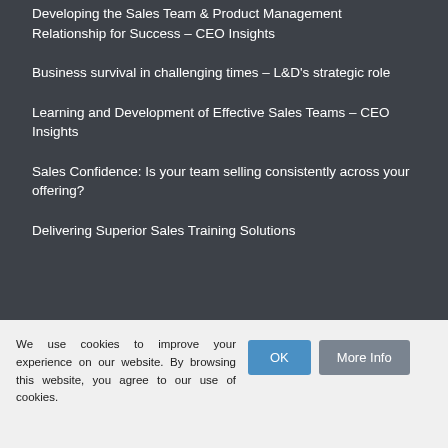Developing the Sales Team & Product Management Relationship for Success – CEO Insights
Business survival in challenging times – L&D's strategic role
Learning and Development of Effective Sales Teams – CEO Insights
Sales Confidence: Is your team selling consistently across your offering?
Delivering Superior Sales Training Solutions
We use cookies to improve your experience on our website. By browsing this website, you agree to our use of cookies.